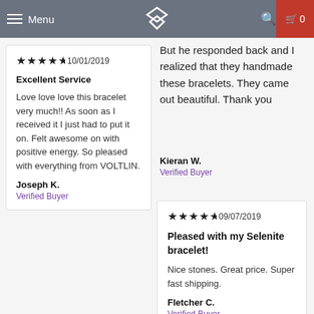Menu | [Logo] | [Search] | Cart 0
But he responded back and I realized that they handmade these bracelets. They came out beautiful. Thank you
Kieran W.
Verified Buyer
★★★★★ 10/01/2019

Excellent Service

Love love love this bracelet very much!! As soon as I received it I just had to put it on. Felt awesome on with positive energy. So pleased with everything from VOLTLIN.

Joseph K.
Verified Buyer
★★★★★ 09/07/2019

Pleased with my Selenite bracelet!

Nice stones. Great price. Super fast shipping.

Fletcher C.
Verified Buyer